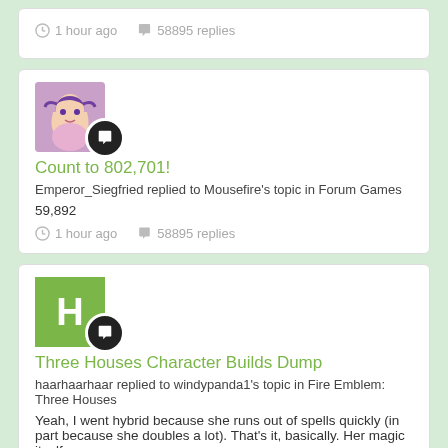1 hour ago   58895 replies
[Figure (screenshot): User avatar with chat bubble icon for Count to 802,701 post]
Count to 802,701!
Emperor_Siegfried replied to Mousefire's topic in Forum Games
59,892
1 hour ago   58895 replies
[Figure (screenshot): Green H avatar with chat bubble icon for Three Houses Character Builds Dump post]
Three Houses Character Builds Dump
haarhaarhaar replied to windypanda1's topic in Fire Emblem: Three Houses
Yeah, I went hybrid because she runs out of spells quickly (in part because she doubles a lot). That's it, basically. Her magic itself…